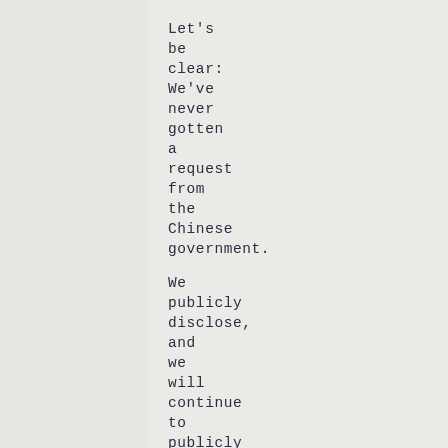Let's be clear: We've never gotten a request from the Chinese government.

We publicly disclose, and we will continue to publicly disclose, responsibly in